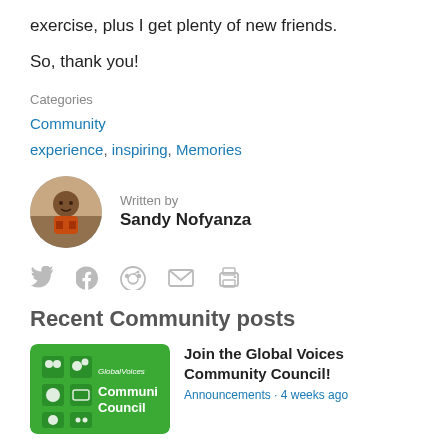exercise, plus I get plenty of new friends.
So, thank you!
Categories
Community
experience, inspiring, Memories
Written by Sandy Nofyanza
[Figure (infographic): Social share icons: Twitter, Facebook, Reddit, Email, Print]
Recent Community posts
[Figure (photo): Green Global Voices Community Council logo image]
Join the Global Voices Community Council!
Announcements · 4 weeks ago